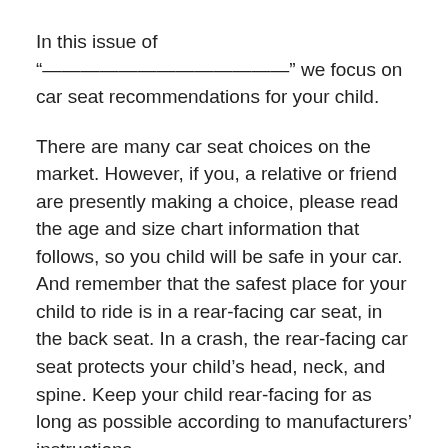In this issue of “—————————————” we focus on car seat recommendations for your child.
There are many car seat choices on the market. However, if you, a relative or friend are presently making a choice, please read the age and size chart information that follows, so you child will be safe in your car. And remember that the safest place for your child to ride is in a rear-facing car seat, in the back seat. In a crash, the rear-facing car seat protects your child’s head, neck, and spine. Keep your child rear-facing for as long as possible according to manufacturers’ instructions.
We appreciate your continued business and look forward to serving you.